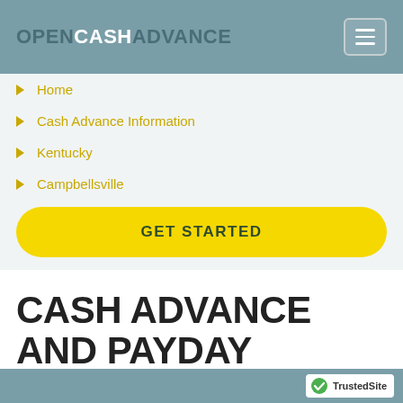OPENCASHADVANCE
Home
Cash Advance Information
Kentucky
Campbellsville
GET STARTED
CASH ADVANCE AND PAYDAY LOANS IN CAMPBELLSVILLE, KY.
TrustedSite